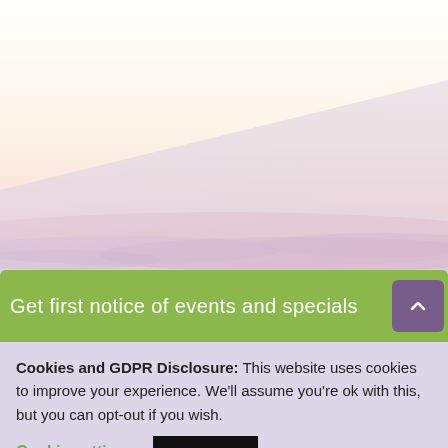[Figure (photo): Pastel sunset sky with soft pink and lavender clouds, light geometric overlay suggesting a diagonal panel shape in muted lavender tones]
Get first notice of events and specials
Cookies and GDPR Disclosure: This website uses cookies to improve your experience. We'll assume you're ok with this, but you can opt-out if you wish.
Cookie settings   ACCEPT